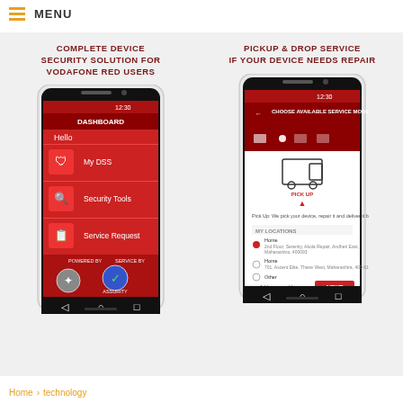MENU
COMPLETE DEVICE SECURITY SOLUTION FOR VODAFONE RED USERS
PICKUP & DROP SERVICE IF YOUR DEVICE NEEDS REPAIR
[Figure (screenshot): Mobile phone screenshot showing a Vodafone DSS app dashboard with Hello greeting, My DSS, Security Tools, and Service Request menu items on a red background]
[Figure (screenshot): Mobile phone screenshot showing Choose Available Service Mode screen with pickup location selection and address options in the Vodafone DSS app]
Home > technology